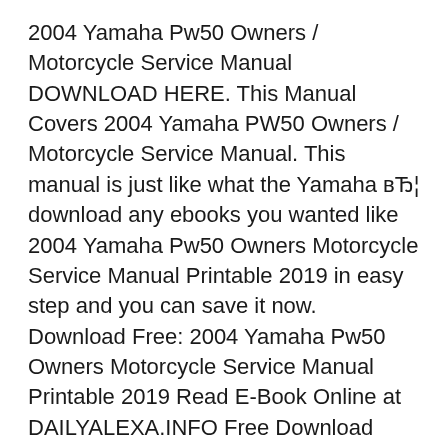2004 Yamaha Pw50 Owners / Motorcycle Service Manual DOWNLOAD HERE. This Manual Covers 2004 Yamaha PW50 Owners / Motorcycle Service Manual. This manual is just like what the Yamaha вЂ¦ download any ebooks you wanted like 2004 Yamaha Pw50 Owners Motorcycle Service Manual Printable 2019 in easy step and you can save it now. Download Free: 2004 Yamaha Pw50 Owners Motorcycle Service Manual Printable 2019 Read E-Book Online at DAILYALEXA.INFO Free Download Books 2004 Yamaha Pw50 Owners Motorcycle Service Manual Printable 2019